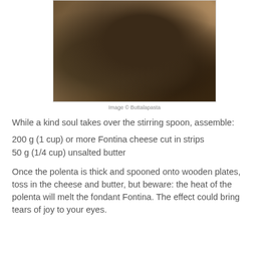[Figure (photo): Close-up photo of dark polenta being stirred in a pot with a wooden spoon]
Image © Buttalapasta
While a kind soul takes over the stirring spoon, assemble:
200 g (1 cup) or more Fontina cheese cut in strips
50 g (1/4 cup) unsalted butter
Once the polenta is thick and spooned onto wooden plates, toss in the cheese and butter, but beware: the heat of the polenta will melt the fondant Fontina. The effect could bring tears of joy to your eyes.